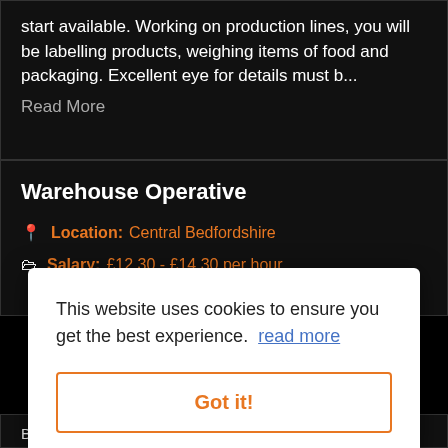start available. Working on production lines, you will be labelling products, weighing items of food and packaging. Excellent eye for details must b...
Read More
Warehouse Operative
Location: Central Bedfordshire
Salary: £12.30 - £14.30 per hour
This website uses cookies to ensure you get the best experience. read more
Got it!
Basic rate £12.00 per hour, overtime £14.30 per...